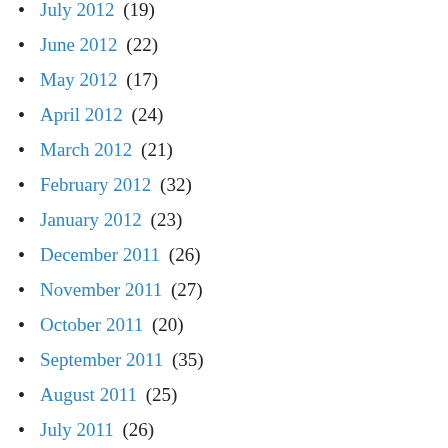July 2012 (19)
June 2012 (22)
May 2012 (17)
April 2012 (24)
March 2012 (21)
February 2012 (32)
January 2012 (23)
December 2011 (26)
November 2011 (27)
October 2011 (20)
September 2011 (35)
August 2011 (25)
July 2011 (26)
June 2011 (30)
May 2011 (33)
April 2011 (27)
March 2011 (30)